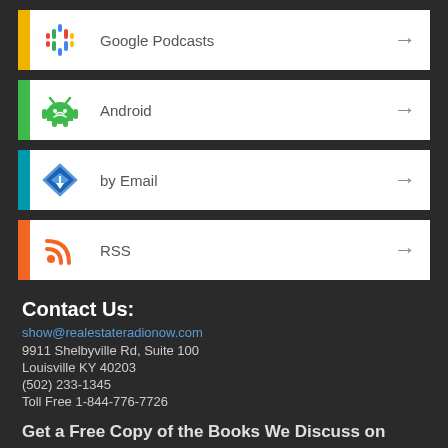Google Podcasts
Android
by Email
RSS
Contact Us:
show@realestateradionow.com
9911 Shelbyville Rd, Suite 100
Louisville KY 40203
(502) 233-1345
Toll Free 1-844-776-7726
Get a Free Copy of the Books We Discuss on